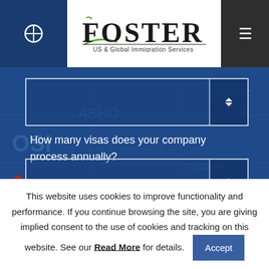[Figure (logo): Foster US & Global Immigration Services logo with stylized F and green swoosh, top navigation bar with search icon on left and hamburger menu on right]
[Figure (screenshot): Blue-tinted world map background with two dropdown form fields and a question 'How many visas does your company process annually?']
How many visas does your company process annually?
This website uses cookies to improve functionality and performance. If you continue browsing the site, you are giving implied consent to the use of cookies and tracking on this website. See our Read More for details.